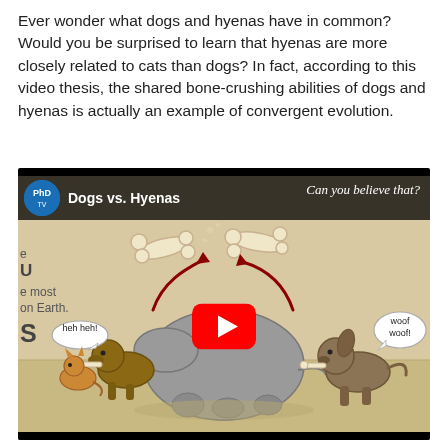Ever wonder what dogs and hyenas have in common? Would you be surprised to learn that hyenas are more closely related to cats than dogs? In fact, according to this video thesis, the shared bone-crushing abilities of dogs and hyenas is actually an example of convergent evolution.
[Figure (screenshot): YouTube video thumbnail for 'Dogs vs. Hyenas' from PhD TV channel. Illustrated cartoon showing a hyena (saying 'heh heh!') and a dog (saying 'woof woof!') both chewing bones near a large grey animal carcass, with a skull-faced figure in background. Broken bones flying at top. Red YouTube play button centered. Text overlay: 'Can you believe that?']